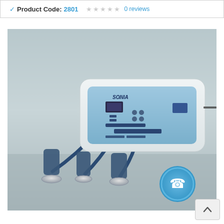✔ Product Code: 2801   ☆ ☆ ☆ ☆ ☆  0 reviews
[Figure (photo): Medical ultrasound therapy device (SONIA brand) with white rectangular body, digital display panel with control buttons, and three handheld transducer probes with blue cables resting on a grey surface. A blue circular phone/call icon is visible in the bottom right corner of the image.]